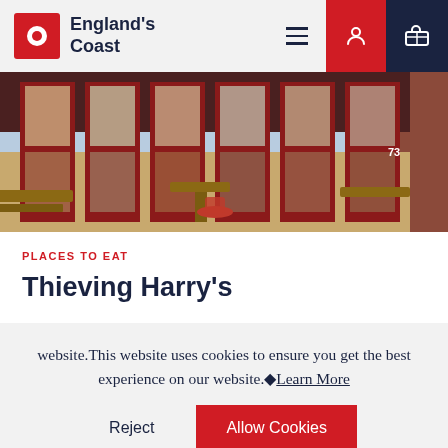England's Coast
[Figure (photo): Interior of Thieving Harry's restaurant showing red-framed glass doors/windows and wooden tables along the walls, brick exterior visible outside]
PLACES TO EAT
Thieving Harry's
website.This website uses cookies to ensure you get the best experience on our website.◆Learn More
Reject  Allow Cookies